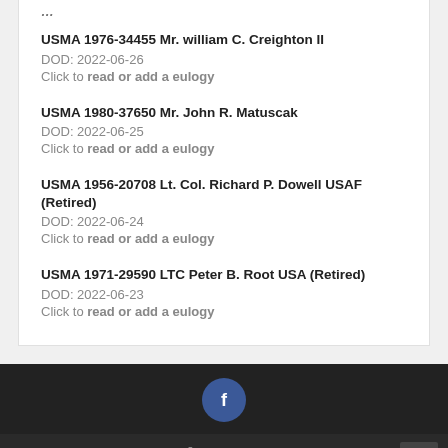USMA 1976-34455 Mr. william C. Creighton II
DOD: 2022-06-26
Click to read or add a eulogy
USMA 1980-37650 Mr. John R. Matuscak
DOD: 2022-06-25
Click to read or add a eulogy
USMA 1956-20708 Lt. Col. Richard P. Dowell USAF (Retired)
DOD: 2022-06-24
Click to read or add a eulogy
USMA 1971-29590 LTC Peter B. Root USA (Retired)
DOD: 2022-06-23
Click to read or add a eulogy
Copyright © 2022 West-Point.ORG
Design by ThemesDNA.com